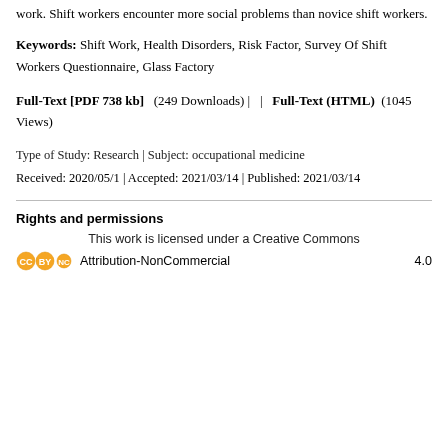work. Shift workers encounter more social problems than novice shift workers.
Keywords: Shift Work, Health Disorders, Risk Factor, Survey Of Shift Workers Questionnaire, Glass Factory
Full-Text [PDF 738 kb]  (249 Downloads) |   |  Full-Text (HTML)  (1045 Views)
Type of Study: Research | Subject: occupational medicine
Received: 2020/05/1 | Accepted: 2021/03/14 | Published: 2021/03/14
Rights and permissions
This work is licensed under a Creative Commons
Attribution-NonCommercial  4.0